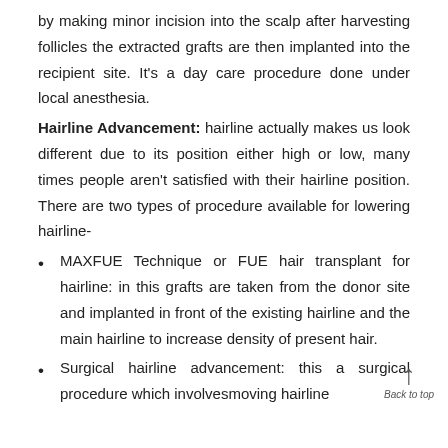by making minor incision into the scalp after harvesting follicles the extracted grafts are then implanted into the recipient site. It's a day care procedure done under local anesthesia.
Hairline Advancement: hairline actually makes us look different due to its position either high or low, many times people aren't satisfied with their hairline position. There are two types of procedure available for lowering hairline-
MAXFUE Technique or FUE hair transplant for hairline: in this grafts are taken from the donor site and implanted in front of the existing hairline and the main hairline to increase density of present hair.
Surgical hairline advancement: this a surgical procedure which involvesmoving hairline